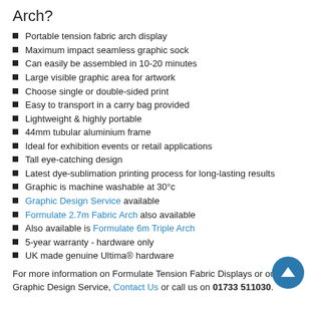Arch?
Portable tension fabric arch display
Maximum impact seamless graphic sock
Can easily be assembled in 10-20 minutes
Large visible graphic area for artwork
Choose single or double-sided print
Easy to transport in a carry bag provided
Lightweight & highly portable
44mm tubular aluminium frame
Ideal for exhibition events or retail applications
Tall eye-catching design
Latest dye-sublimation printing process for long-lasting results
Graphic is machine washable at 30°c
Graphic Design Service available
Formulate 2.7m Fabric Arch also available
Also available is Formulate 6m Triple Arch
5-year warranty - hardware only
UK made genuine Ultima® hardware
For more information on Formulate Tension Fabric Displays or our Graphic Design Service, Contact Us or call us on 01733 511030.